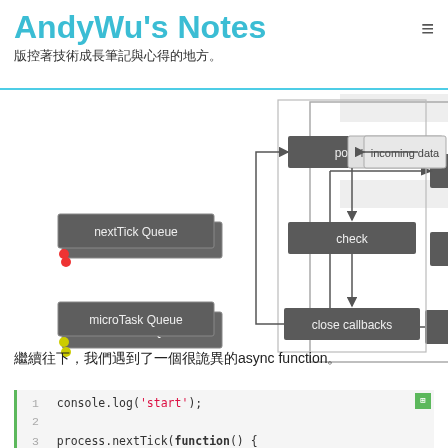AndyWu's Notes
版控著技術成長筆記與心得的地方。
[Figure (flowchart): Node.js event loop flowchart showing boxes: polling (with incoming data arrow), check, close callbacks on right side; nextTick Queue (red dot) and microTask Queue (yellow dot) on left side. Arrows connect boxes in a cycle.]
繼續往下，我們遇到了一個很詭異的async function。
[Figure (screenshot): Code block showing JavaScript: console.log('start'); process.nextTick(function() { console.log('nextTick1'); }); setTimeout(function() { ... lines 1-7+]